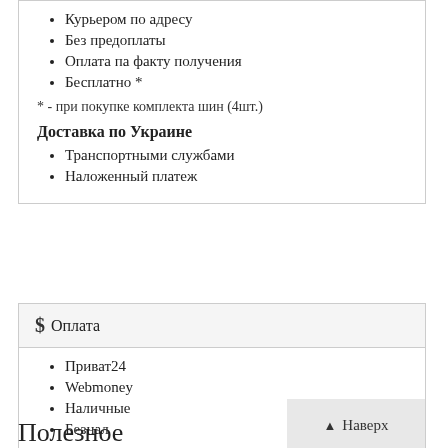Курьером по адресу
Без предоплаты
Оплата па факту получения
Бесплатно *
* - при покупке комплекта шин (4шт.)
Доставка по Украине
Транспортными службами
Наложенный платеж
$ Оплата
Приват24
Webmoney
Наличные
Безнал
Наверх
Полезное